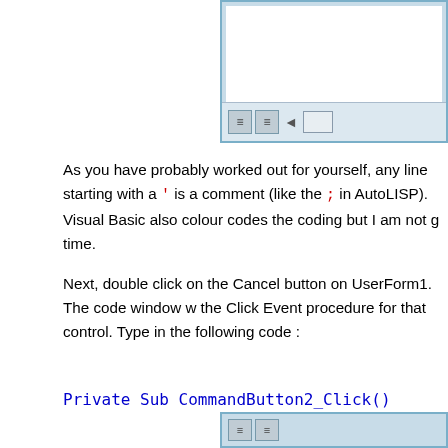[Figure (screenshot): Partial screenshot of a Visual Basic IDE toolbar at the top of the page]
As you have probably worked out for yourself, any line starting with a ' is a comment (like the ; in AutoLISP). Visual Basic also colour codes the coding but I am not going into that at this time.
Next, double click on the Cancel button on UserForm1. The code window will open and insert the Click Event procedure for that control. Type in the following code :
The code window should look like this :
[Figure (screenshot): Partial screenshot of the bottom of a Visual Basic code window]